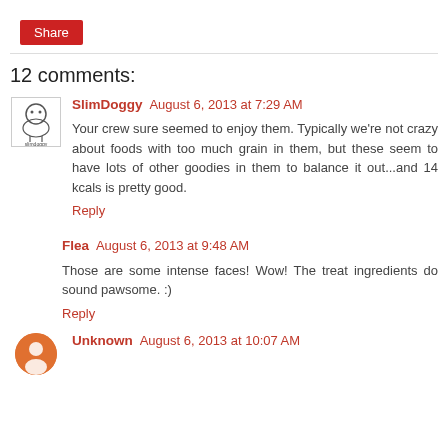Share
12 comments:
SlimDoggy August 6, 2013 at 7:29 AM
Your crew sure seemed to enjoy them. Typically we're not crazy about foods with too much grain in them, but these seem to have lots of other goodies in them to balance it out...and 14 kcals is pretty good.
Reply
Flea August 6, 2013 at 9:48 AM
Those are some intense faces! Wow! The treat ingredients do sound pawsome. :)
Reply
Unknown August 6, 2013 at 10:07 AM